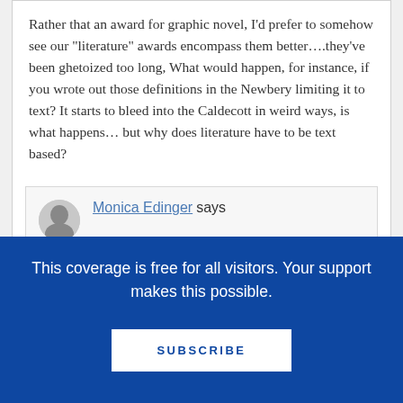Rather that an award for graphic novel, I’d prefer to somehow see our “literature” awards encompass them better….they’ve been ghetoized too long, What would happen, for instance, if you wrote out those definitions in the Newbery limiting it to text? It starts to bleed into the Caldecott in weird ways, is what happens… but why does literature have to be text based?
Monica Edinger says
This coverage is free for all visitors. Your support makes this possible.
SUBSCRIBE